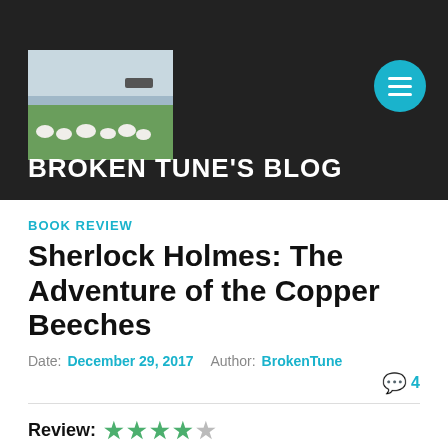[Figure (photo): Blog header with dark background, a photo of sheep grazing in a green field with water and a ship in the background, and a teal circular menu button with three horizontal lines]
BROKEN TUNE'S BLOG
BOOK REVIEW
Sherlock Holmes: The Adventure of the Copper Beeches
Date: December 29, 2017  Author: BrokenTune
4 comments
Review: 4 out of 5 stars